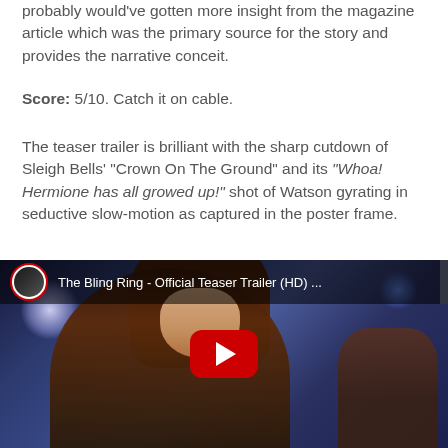probably would've gotten more insight from the magazine article which was the primary source for the story and provides the narrative conceit.
Score: 5/10. Catch it on cable.
The teaser trailer is brilliant with the sharp cutdown of Sleigh Bells' "Crown On The Ground" and its "Whoa! Hermione has all growed up!" shot of Watson gyrating in seductive slow-motion as captured in the poster frame.
[Figure (screenshot): YouTube video thumbnail showing The Bling Ring Official Teaser Trailer (HD) with a young woman with long dark hair looking over her shoulder in a nightclub setting. A YouTube play button is visible in the center. The video bar at top shows a channel avatar and the title.]